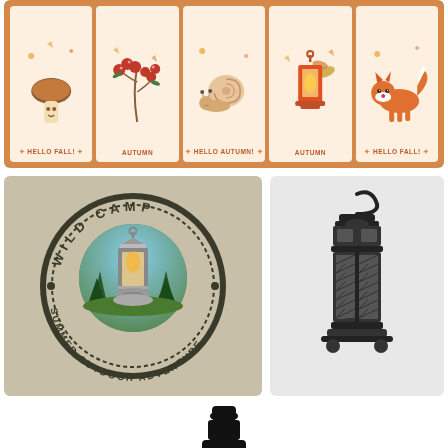[Figure (illustration): Five autumn greeting cards in a row on orange background: mushroom (Hello Fall!), berries (Autumn), snail (Hello Autumn!), lantern (Autumn), fox (Hello Fall!)]
[Figure (logo): Wild Camp Summer Outdoor Adventure circular badge with kerosene lantern and pine trees in center, beige background]
[Figure (illustration): Ornate black decorative lantern on grey background]
[Figure (illustration): Black silhouette of a kerosene lantern, partially cropped at bottom of page, on white background]